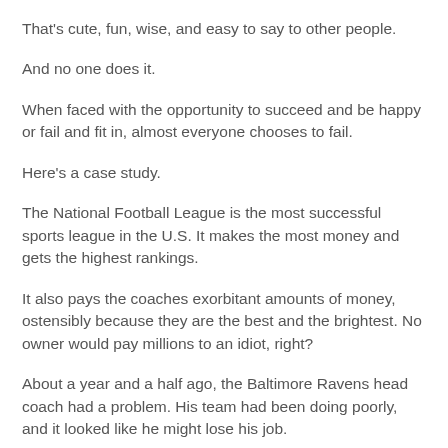That's cute, fun, wise, and easy to say to other people.
And no one does it.
When faced with the opportunity to succeed and be happy or fail and fit in, almost everyone chooses to fail.
Here's a case study.
The National Football League is the most successful sports league in the U.S. It makes the most money and gets the highest rankings.
It also pays the coaches exorbitant amounts of money, ostensibly because they are the best and the brightest. No owner would pay millions to an idiot, right?
About a year and a half ago, the Baltimore Ravens head coach had a problem. His team had been doing poorly, and it looked like he might lose his job.